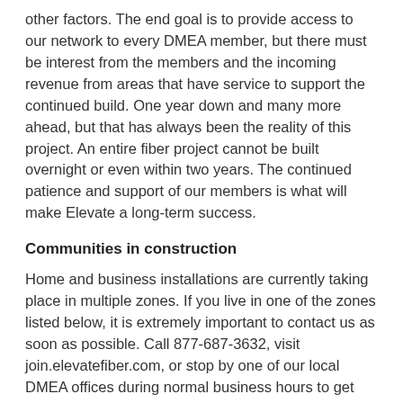other factors. The end goal is to provide access to our network to every DMEA member, but there must be interest from the members and the incoming revenue from areas that have service to support the continued build. One year down and many more ahead, but that has always been the reality of this project. An entire fiber project cannot be built overnight or even within two years. The continued patience and support of our members is what will make Elevate a long-term success.
Communities in construction
Home and business installations are currently taking place in multiple zones. If you live in one of the zones listed below, it is extremely important to contact us as soon as possible. Call 877-687-3632, visit join.elevatefiber.com, or stop by one of our local DMEA offices during normal business hours to get signed up for service.
Paonia 45: $100 installation special is no